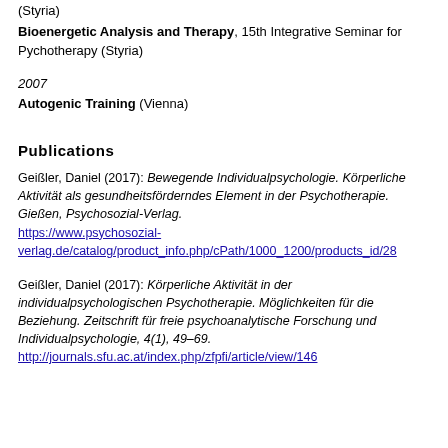(Styria)
Bioenergetic Analysis and Therapy, 15th Integrative Seminar for Pychotherapy (Styria)
2007
Autogenic Training (Vienna)
Publications
Geißler, Daniel (2017): Bewegende Individualpsychologie. Körperliche Aktivität als gesundheitsförderndes Element in der Psychotherapie. Gießen, Psychosozial-Verlag. https://www.psychosozial-verlag.de/catalog/product_info.php/cPath/1000_1200/products_id/28
Geißler, Daniel (2017): Körperliche Aktivität in der individualpsychologischen Psychotherapie. Möglichkeiten für die Beziehung. Zeitschrift für freie psychoanalytische Forschung und Individualpsychologie, 4(1), 49–69. http://journals.sfu.ac.at/index.php/zfpfi/article/view/146